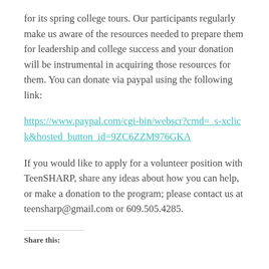for its spring college tours. Our participants regularly make us aware of the resources needed to prepare them for leadership and college success and your donation will be instrumental in acquiring those resources for them. You can donate via paypal using the following link:
https://www.paypal.com/cgi-bin/webscr?cmd=_s-xclick&hosted_button_id=9ZC6ZZM976GKA
If you would like to apply for a volunteer position with TeenSHARP, share any ideas about how you can help, or make a donation to the program; please contact us at teensharp@gmail.com or 609.505.4285.
Share this: